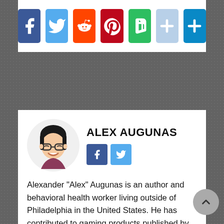[Figure (infographic): Social sharing icons row: Facebook, Twitter, Reddit, Pinterest, Evernote, light plus, blue plus]
ALEX AUGUNAS
[Figure (illustration): Cartoon avatar of Alex Augunas, a person with glasses and dark hair, smiling]
Alexander "Alex" Augunas is an author and behavioral health worker living outside of Philadelphia in the United States. He has contributed to gaming products published by Paizo, Inc, Kobold Press, Legendary Games, Raging Swan Press, Rogue Genius Games, and Steve Jackson Games, as well as the owner and publisher of Everybody Games (formerly Everyman Gaming). At the Know Direction Network, he is the author of Guidance and a co-host on Know Direction: Beyond. You can see Alex's exploits at